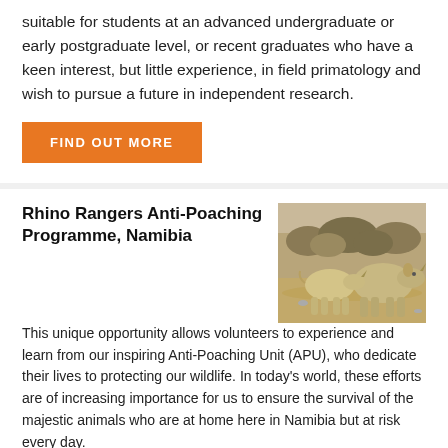suitable for students at an advanced undergraduate or early postgraduate level, or recent graduates who have a keen interest, but little experience, in field primatology and wish to pursue a future in independent research.
FIND OUT MORE
Rhino Rangers Anti-Poaching Programme, Namibia
[Figure (photo): Photo of two rhinos in a dry, arid landscape with sparse dry bushes in the background.]
This unique opportunity allows volunteers to experience and learn from our inspiring Anti-Poaching Unit (APU), who dedicate their lives to protecting our wildlife. In today's world, these efforts are of increasing importance for us to ensure the survival of the majestic animals who are at home here in Namibia but at risk every day.
FIND OUT MORE